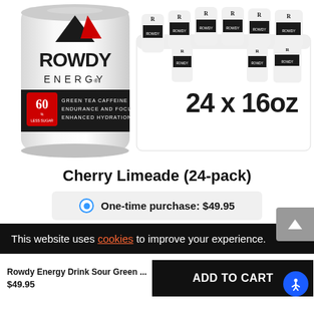[Figure (photo): Rowdy Energy drink can (Cherry Limeade, white can with red and black branding) on left, and a 24x16oz case/box of Rowdy Energy cans on the right. The can label shows 60% less sugar, green tea caffeine, endurance and focus, enhanced hydration.]
Cherry Limeade (24-pack)
One-time purchase: $49.95
This website uses cookies to improve your experience.
Rowdy Energy Drink Sour Green ...
$49.95
ADD TO CART